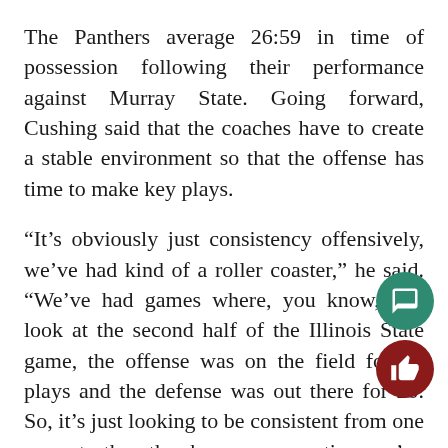The Panthers average 26:59 in time of possession following their performance against Murray State. Going forward, Cushing said that the coaches have to create a stable environment so that the offense has time to make key plays.
“It’s obviously just consistency offensively, we’ve had kind of a roller coaster,” he said. “We’ve had games where, you know, you look at the second half of the Illinois State game, the offense was on the field for 50 plays and the defense was out there for 20. So, it’s just looking to be consistent from one game to the other because every time we’ve put together a good game offensively, we don’t follow it great. It comes with confidence and keeping the group healthy. We’ve h… bunch of injuries on the offensive side of the ball and it’s not an excuse. On us as coaches, we’ve got to create that stabilization so that whoever it is can st…